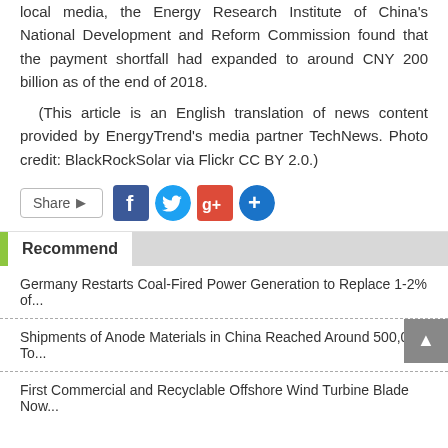local media, the Energy Research Institute of China's National Development and Reform Commission found that the payment shortfall had expanded to around CNY 200 billion as of the end of 2018.
(This article is an English translation of news content provided by EnergyTrend's media partner TechNews. Photo credit: BlackRockSolar via Flickr CC BY 2.0.)
[Figure (other): Share button with social media icons: Facebook, Twitter, Google+, and a blue plus/add button]
Recommend
Germany Restarts Coal-Fired Power Generation to Replace 1-2% of...
Shipments of Anode Materials in China Reached Around 500,000 To...
First Commercial and Recyclable Offshore Wind Turbine Blade Now...